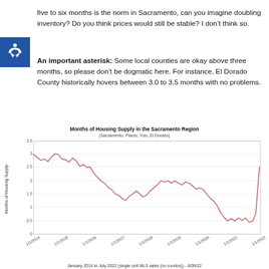five to six months is the norm in Sacramento, can you imagine doubling inventory? Do you think prices would still be stable? I don't think so.
An important asterisk: Some local counties are okay above three months, so please don't be dogmatic here. For instance, El Dorado County historically hovers between 3.0 to 3.5 months with no problems.
[Figure (continuous-plot): Line chart showing Months of Housing Supply in the Sacramento Region (Sacramento, Placer, Yolo, El Dorado) from January 2014 to July 2022 for single unit MLS sales (no condos). The line starts around 3 in early 2014, fluctuates between 1.5 and 3.2 through 2015-2016, drops toward 1 in 2016-2017, rises to about 2.5-2.6 in 2018-2019, then drops sharply to around 0.5-1 during 2020-2022, with a sharp rise to about 2.4 at the end.]
January 2014 to July 2022 (single unit MLS sales (no condos)) - 8/09/22